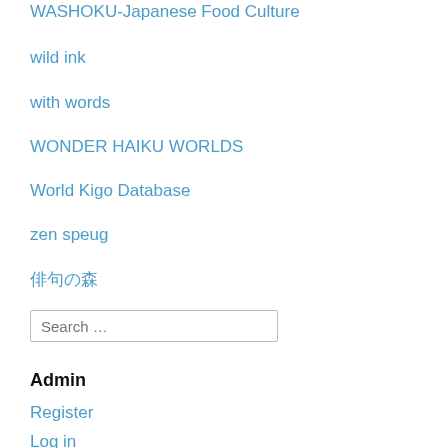WASHOKU-Japanese Food Culture
wild ink
with words
WONDER HAIKU WORLDS
World Kigo Database
zen speug
俳句の森
Search …
Admin
Register
Log in